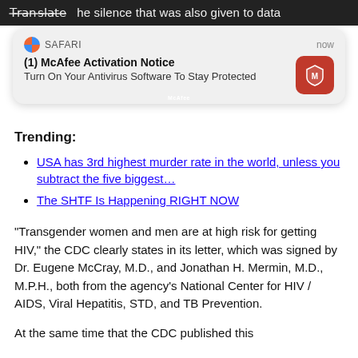Translate he silence that was also given to data
[Figure (screenshot): Safari browser notification popup from McAfee: '(1) McAfee Activation Notice - Turn On Your Antivirus Software To Stay Protected', timestamped 'now']
Trending:
USA has 3rd highest murder rate in the world, unless you subtract the five biggest…
The SHTF Is Happening RIGHT NOW
“Transgender women and men are at high risk for getting HIV,” the CDC clearly states in its letter, which was signed by Dr. Eugene McCray, M.D., and Jonathan H. Mermin, M.D., M.P.H., both from the agency’s National Center for HIV / AIDS, Viral Hepatitis, STD, and TB Prevention.
At the same time that the CDC published this